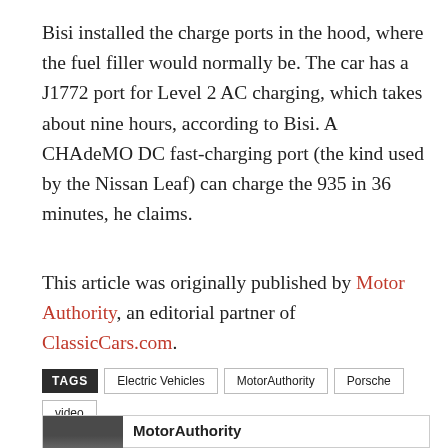Bisi installed the charge ports in the hood, where the fuel filler would normally be. The car has a J1772 port for Level 2 AC charging, which takes about nine hours, according to Bisi. A CHAdeMO DC fast-charging port (the kind used by the Nissan Leaf) can charge the 935 in 36 minutes, he claims.
This article was originally published by Motor Authority, an editorial partner of ClassicCars.com.
TAGS: Electric Vehicles | MotorAuthority | Porsche | video
[Figure (other): MotorAuthority card with logo image and bold text 'MotorAuthority']